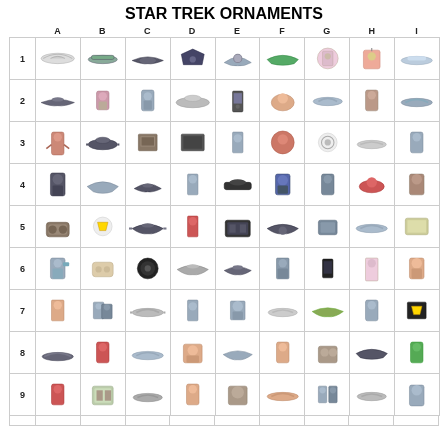STAR TREK ORNAMENTS
[Figure (table-as-image): Grid of Star Trek ornaments arranged in a 9-column (A-I) by 9-row (1-9) plus partial 10th row catalog. Each cell contains a photo of a Star Trek collectible ornament including spaceships, character figures, and scenes.]